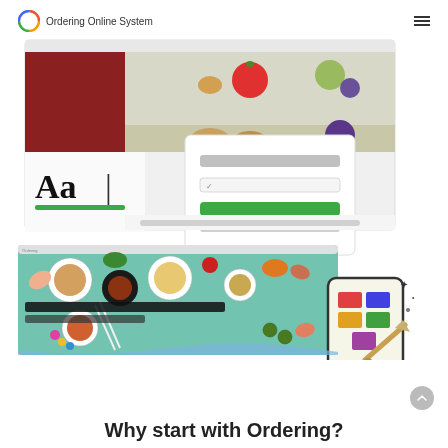Ordering Online System
[Figure (screenshot): Two overlapping browser/app screenshots: top one shows a food ordering website with vegetables and a login/form dialog with green button; bottom one shows an overhead view of colorful food dishes on a teal background with chopsticks, a paint palette tool graphic, and UI customization elements.]
Why start with Ordering?